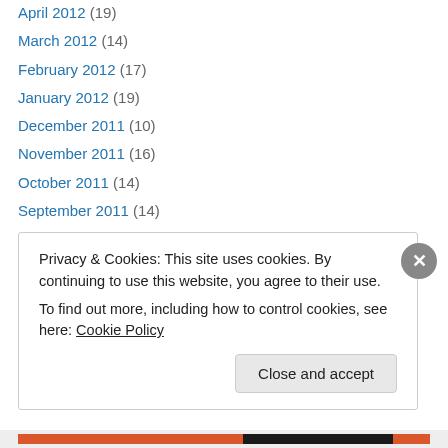April 2012 (19)
March 2012 (14)
February 2012 (17)
January 2012 (19)
December 2011 (10)
November 2011 (16)
October 2011 (14)
September 2011 (14)
August 2011 (18)
July 2011 (13)
June 2011 (16)
May 2011 (30)
Privacy & Cookies: This site uses cookies. By continuing to use this website, you agree to their use.
To find out more, including how to control cookies, see here: Cookie Policy
Close and accept